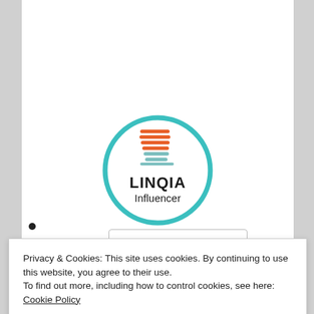[Figure (logo): LINQIA Influencer logo inside a teal circle. The logo features a stylized shopping cart icon in orange and teal/gray, with the text LINQIA in bold black and Influencer below in regular black.]
Privacy & Cookies: This site uses cookies. By continuing to use this website, you agree to their use.
To find out more, including how to control cookies, see here: Cookie Policy
Close and accept